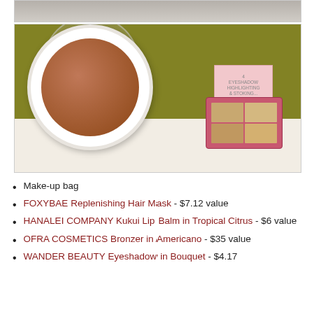[Figure (photo): Partial top image showing edge of a beauty/cosmetic product display]
[Figure (photo): Photo of an open OFRA white compact bronzer and a pink Wander Beauty eyeshadow palette on a white surface against an olive/dark yellow-green background]
Make-up bag
FOXYBAE Replenishing Hair Mask - $7.12 value
HANALEI COMPANY Kukui Lip Balm in Tropical Citrus - $6 value
OFRA COSMETICS Bronzer in Americano - $35 value
WANDER BEAUTY Eyeshadow in Bouquet - $4.17